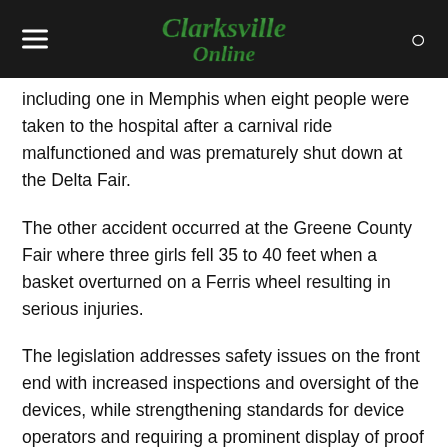Clarksville Online
including one in Memphis when eight people were taken to the hospital after a carnival ride malfunctioned and was prematurely shut down at the Delta Fair.
The other accident occurred at the Greene County Fair where three girls fell 35 to 40 feet when a basket overturned on a Ferris wheel resulting in serious injuries.
The legislation addresses safety issues on the front end with increased inspections and oversight of the devices, while strengthening standards for device operators and requiring a prominent display of proof of inspection.  To accomplish the inspections, the bill allows the Department of Labor and Workforce Development to continue either their current practice of using qualified, third party device inspectors, or